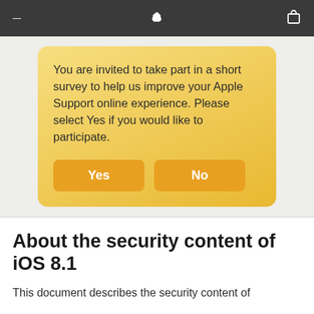≡  Apple  🛍
You are invited to take part in a short survey to help us improve your Apple Support online experience. Please select Yes if you would like to participate.
Yes   No
About the security content of iOS 8.1
This document describes the security content of